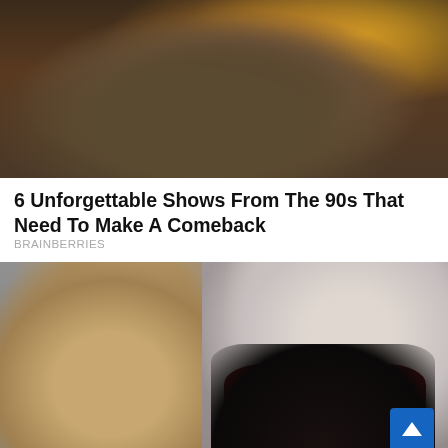[Figure (photo): Two women in dark warrior/fantasy armor costumes, one in the foreground with ornate bronze breastplate, fire and dramatic lighting in background]
6 Unforgettable Shows From The 90s That Need To Make A Comeback
BRAINBERRIES
[Figure (photo): A blonde woman in the foreground and a pale man with bleached blonde spiky hair behind her, both looking intense. The man wears a red shirt and dark jacket. A scroll-to-top button is visible in the bottom right corner.]
Top 10 TV Friends Who Used To Be Enemies